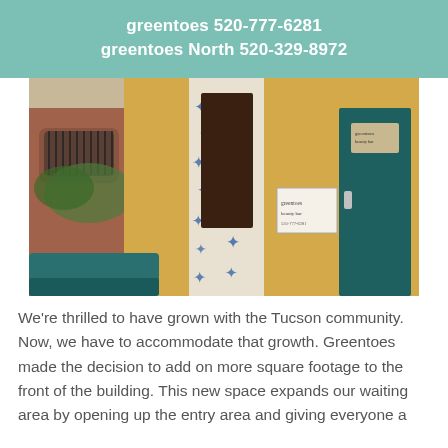greentoes 520-777-6281
greentoes North 520-329-8972
[Figure (photo): Exterior of a building with yellow stucco walls, a teal/dark green door on the right with a sign above it, and a mosaic-tiled column with blue star/flower patterns in the center. A dark brown window is set into the mosaic column. To the left is a brick building with iron-barred windows and green plants. In the foreground is a teal metal bench or railing.]
We're thrilled to have grown with the Tucson community. Now, we have to accommodate that growth. Greentoes made the decision to add on more square footage to the front of the building. This new space expands our waiting area by opening up the entry area and giving everyone a